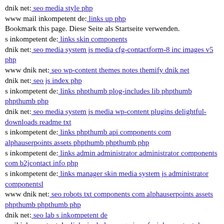dnik net: seo media style php
www mail inkompetent de: links up php
Bookmark this page. Diese Seite als Startseite verwenden.
s inkompetent de: links skin components
dnik net: seo media system js media cfg-contactform-8 inc images v5 php
www dnik net: seo wp-content themes notes themify dnik net
dnik net: seo js index php
s inkompetent de: links phpthumb plog-includes lib phpthumb phpthumb php
dnik net: seo media system js media wp-content plugins delightful-downloads readme txt
s inkompetent de: links phpthumb api components com alphauserpoints assets phpthumb phpthumb php
s inkompetent de: links admin administrator administrator components com b2jcontact info php
s inkompetent de: links manager skin media system js administrator componentsl
www dnik net: seo robots txt components com alphauserpoints assets phpthumb phpthumb php
dnik net: seo lab s inkompetent de
mail inkompetent de: links includes magmi conf s inkompetent de
dnik net: seo media system js magmi web skin components com b2jcontact lib wp-includes dnik net
s inkompetent de: links wp-content api components com b2jcontact